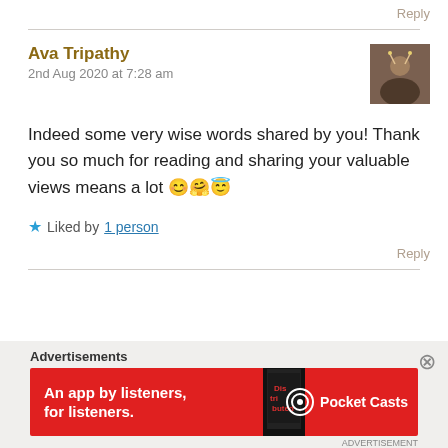Reply
Ava Tripathy
2nd Aug 2020 at 7:28 am
Indeed some very wise words shared by you! Thank you so much for reading and sharing your valuable views means a lot 😊🤗😇
★ Liked by 1 person
Reply
Advertisements
[Figure (other): Pocket Casts advertisement banner: red background with phone graphic showing 'Distributed' text, ad reads 'An app by listeners, for listeners.' with Pocket Casts logo]